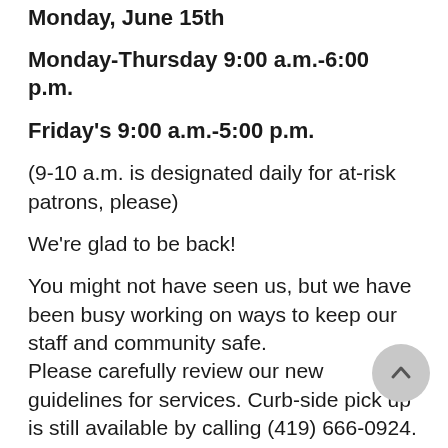Monday, June 15th
Monday-Thursday 9:00 a.m.-6:00 p.m.
Friday's 9:00 a.m.-5:00 p.m.
(9-10 a.m. is designated daily for at-risk patrons, please)
We're glad to be back!
You might not have seen us, but we have been busy working on ways to keep our staff and community safe. Please carefully review our new guidelines for services. Curb-side pick up is still available by calling (419) 666-0924.
1. The library will initially set its maximum